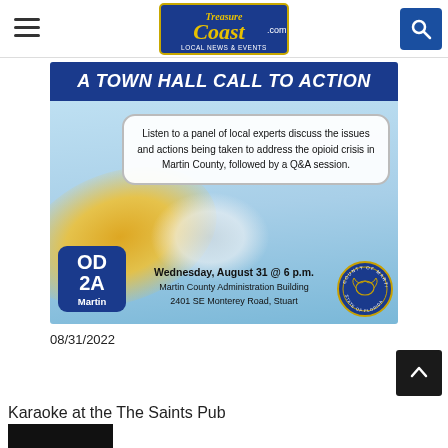Treasure Coast .com LOCAL NEWS & EVENTS
[Figure (infographic): Town Hall event flyer for OD2A Martin County opioid crisis panel discussion. Dark blue header reads 'A TOWN HALL CALL TO ACTION'. A white rounded box states: 'Listen to a panel of local experts discuss the issues and actions being taken to address the opioid crisis in Martin County, followed by a Q&A session.' OD2A Martin logo box at lower left. Event details: Wednesday, August 31 @ 6 p.m., Martin County Administration Building, 2401 SE Monterey Road, Stuart. County of Martin State of Florida seal at lower right.]
08/31/2022
Karaoke at the The Saints Pub